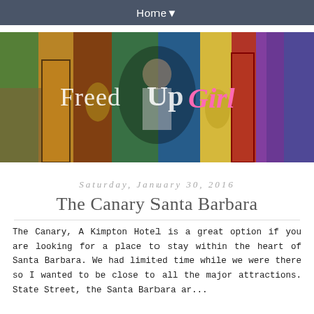Home▼
[Figure (photo): Colorful street mural background with blog logo text 'Freed Up Girl' overlaid]
Saturday, January 30, 2016
The Canary Santa Barbara
The Canary, A Kimpton Hotel is a great option if you are looking for a place to stay within the heart of Santa Barbara. We had limited time while we were there so I wanted to be close to all the major attractions. State Street, the Santa Barbara area, the Mission...